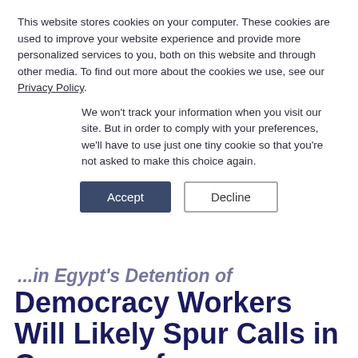This website stores cookies on your computer. These cookies are used to improve your website experience and provide more personalized services to you, both on this website and through other media. To find out more about the cookies we use, see our Privacy Policy.
We won't track your information when you visit our site. But in order to comply with your preferences, we'll have to use just one tiny cookie so that you're not asked to make this choice again.
Accept | Decline
Democracy Workers Will Likely Spur Calls in Congress for Retaliation
June 5, 2013
SHARE THIS ARTICLE